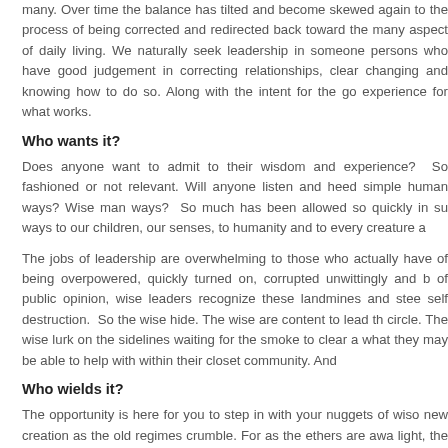many. Over time the balance has tilted and become skewed again to the process of being corrected and redirected back toward the many aspect of daily living. We naturally seek leadership in someone persons who have good judgement in correcting relationships, clear changing and knowing how to do so. Along with the intent for the go experience for what works.
Who wants it?
Does anyone want to admit to their wisdom and experience? So fashioned or not relevant. Will anyone listen and heed simple human ways? Wise man ways? So much has been allowed so quickly in such ways to our children, our senses, to humanity and to every creature a
The jobs of leadership are overwhelming to those who actually have of being overpowered, quickly turned on, corrupted unwittingly and b of public opinion, wise leaders recognize these landmines and stee self destruction. So the wise hide. The wise are content to lead the circle. The wise lurk on the sidelines waiting for the smoke to clear a what they may be able to help with within their closet community. And
Who wields it?
The opportunity is here for you to step in with your nuggets of wiso new creation as the old regimes crumble. For as the ethers are awa light, the new ideas, and the new technologies. We need our sage